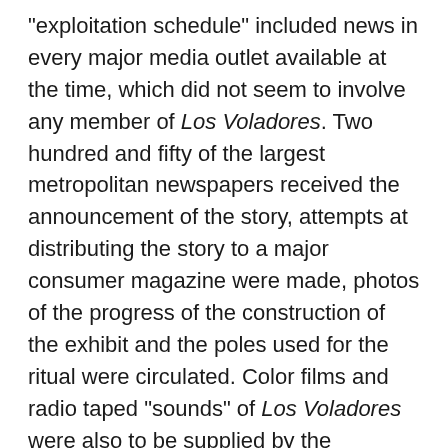“exploitation schedule” included news in every major media outlet available at the time, which did not seem to involve any member of Los Voladores. Two hundred and fifty of the largest metropolitan newspapers received the announcement of the story, attempts at distributing the story to a major consumer magazine were made, photos of the progress of the construction of the exhibit and the poles used for the ritual were circulated. Color films and radio taped “sounds” of Los Voladores were also to be supplied by the HemisFair publicity office. This, of course, all led up to the press conference announcing formally the company’s support of and involvement in HemisFair ’68 as well as the living exhibit. Mexican cocktails, Frito-Lay hors d’oeuvres, and Pepsi products were served as appetizers and refreshments before the official statement and question and answer session with Joan Crawford—who was a member of the PepsiCo board—other